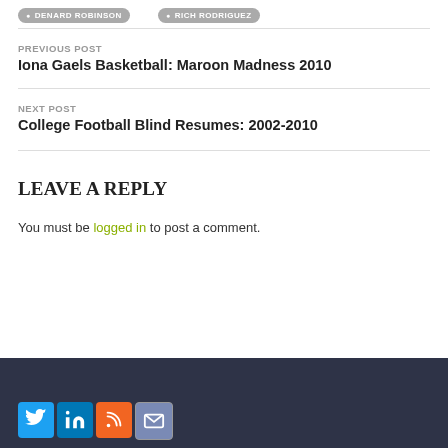DENARD ROBINSON
RICH RODRIGUEZ
PREVIOUS POST
Iona Gaels Basketball: Maroon Madness 2010
NEXT POST
College Football Blind Resumes: 2002-2010
LEAVE A REPLY
You must be logged in to post a comment.
Social icons: Twitter, LinkedIn, RSS, Email